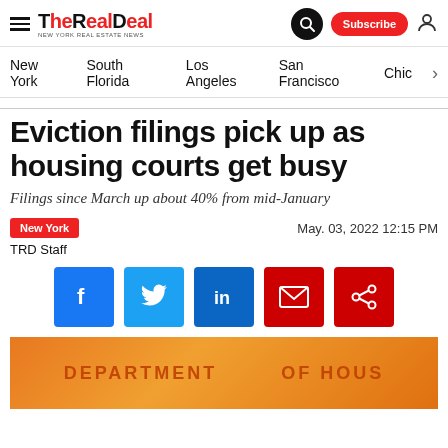The Real Deal — New York Real Estate News
New York | South Florida | Los Angeles | San Francisco | Chicago
Eviction filings pick up as housing courts get busy
Filings since March up about 40% from mid-January
New York | May. 03, 2022 12:15 PM | TRD Staff
[Figure (photo): Department of Housing orange document header, partially visible at bottom of page]